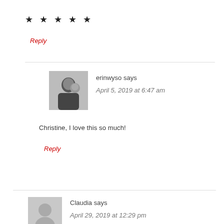★ ★ ★ ★ ★
Reply
[Figure (photo): Avatar photo of erinwyso, a woman with dark hair holding a cat]
erinwyso says
April 5, 2019 at 6:47 am
Christine, I love this so much!
Reply
[Figure (photo): Generic grey avatar silhouette for Claudia]
Claudia says
April 29, 2019 at 12:29 pm